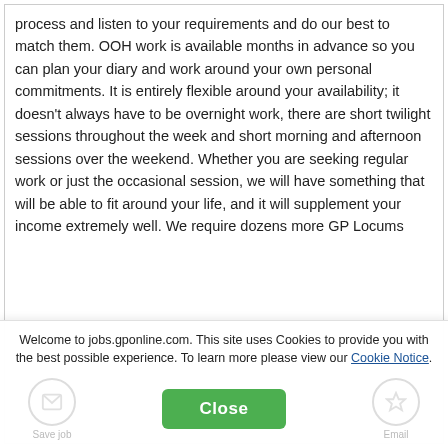process and listen to your requirements and do our best to match them. OOH work is available months in advance so you can plan your diary and work around your own personal commitments. It is entirely flexible around your availability; it doesn't always have to be overnight work, there are short twilight sessions throughout the week and short morning and afternoon sessions over the weekend. Whether you are seeking regular work or just the occasional session, we will have something that will be able to fit around your life, and it will supplement your income extremely well. We require dozens more GP Locums
Welcome to jobs.gponline.com. This site uses Cookies to provide you with the best possible experience. To learn more please view our Cookie Notice.